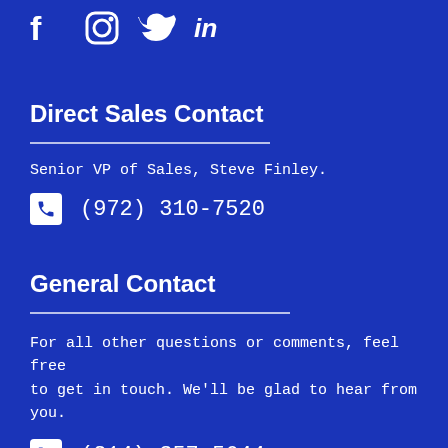[Figure (infographic): Social media icons: Facebook, Instagram, Twitter, LinkedIn in white on dark blue background]
Direct Sales Contact
Senior VP of Sales, Steve Finley.
(972) 310-7520
General Contact
For all other questions or comments, feel free to get in touch. We'll be glad to hear from you.
(214) 357-5644